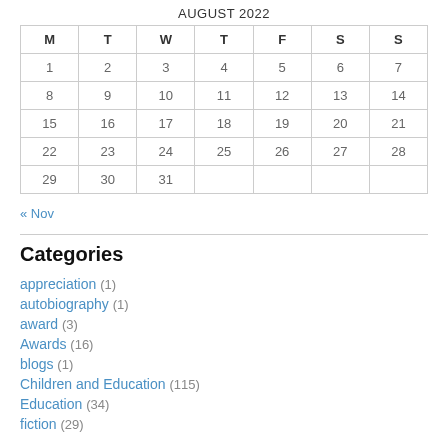AUGUST 2022
| M | T | W | T | F | S | S |
| --- | --- | --- | --- | --- | --- | --- |
| 1 | 2 | 3 | 4 | 5 | 6 | 7 |
| 8 | 9 | 10 | 11 | 12 | 13 | 14 |
| 15 | 16 | 17 | 18 | 19 | 20 | 21 |
| 22 | 23 | 24 | 25 | 26 | 27 | 28 |
| 29 | 30 | 31 |  |  |  |  |
« Nov
Categories
appreciation (1)
autobiography (1)
award (3)
Awards (16)
blogs (1)
Children and Education (115)
Education (34)
fiction (29)